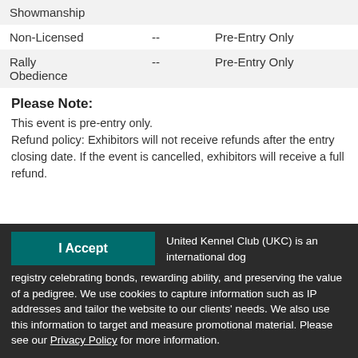| Showmanship |  |  |
| Non-Licensed | -- | Pre-Entry Only |
| Rally Obedience | -- | Pre-Entry Only |
Please Note:
This event is pre-entry only.
Refund policy: Exhibitors will not receive refunds after the entry closing date. If the event is cancelled, exhibitors will receive a full refund.
I Accept
United Kennel Club (UKC) is an international dog registry celebrating bonds, rewarding ability, and preserving the value of a pedigree. We use cookies to capture information such as IP addresses and tailor the website to our clients' needs. We also use this information to target and measure promotional material. Please see our Privacy Policy for more information.